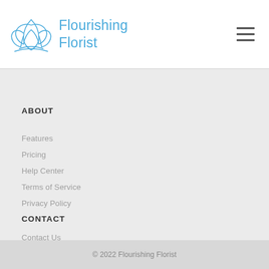[Figure (logo): Flourishing Florist logo: blue lotus/flower outline and blue text reading 'Flourishing Florist']
ABOUT
Features
Pricing
Help Center
Terms of Service
Privacy Policy
CONTACT
Contact Us
© 2022 Flourishing Florist